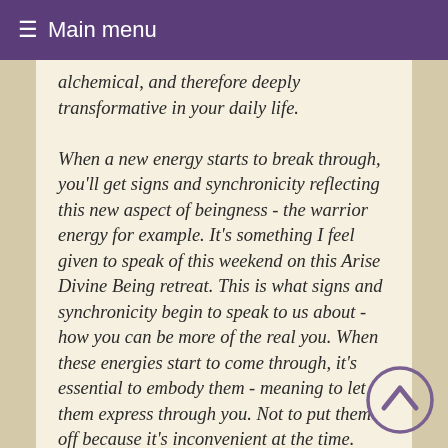≡ Main menu
alchemical, and therefore deeply transformative in your daily life.

When a new energy starts to break through, you'll get signs and synchronicity reflecting this new aspect of beingness - the warrior energy for example. It's something I feel given to speak of this weekend on this Arise Divine Being retreat. This is what signs and synchronicity begin to speak to us about - how you can be more of the real you. When these energies start to come through, it's essential to embody them - meaning to let them express through you. Not to put them off because it's inconvenient at the time. Find a way to express. So in the case of the warrior example, it might be going for a run or power walk in nature, doing some strong...